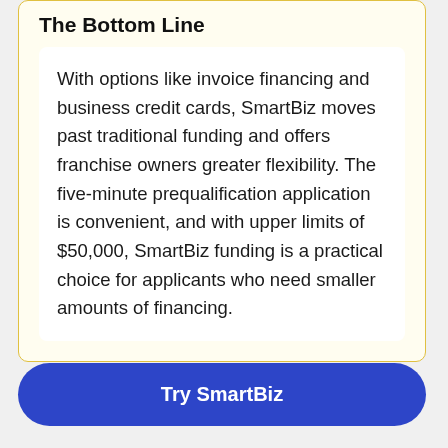The Bottom Line
With options like invoice financing and business credit cards, SmartBiz moves past traditional funding and offers franchise owners greater flexibility. The five-minute prequalification application is convenient, and with upper limits of $50,000, SmartBiz funding is a practical choice for applicants who need smaller amounts of financing.
Try SmartBiz